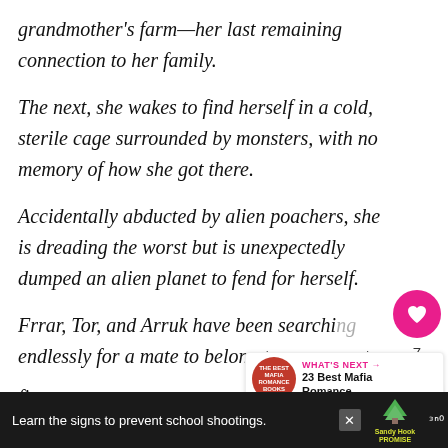grandmother's farm—her last remaining connection to her family.
The next, she wakes to find herself in a cold, sterile cage surrounded by monsters, with no memory of how she got there.
Accidentally abducted by alien poachers, she is dreading the worst but is unexpectedly dumped an alien planet to fend for herself.
Frrar, Tor, and Arruk have been searching endlessly for a mate to belong to, someone to fin... e.
[Figure (infographic): WHAT'S NEXT arrow label in pink with '23 Best Mafia Romance...' text and a circular badge]
[Figure (infographic): Advertisement bar: Sandy Hook Promise - Learn the signs to prevent school shootings]
[Figure (infographic): Heart/like button (pink circle) with count 7, and share button (white circle with share icon)]